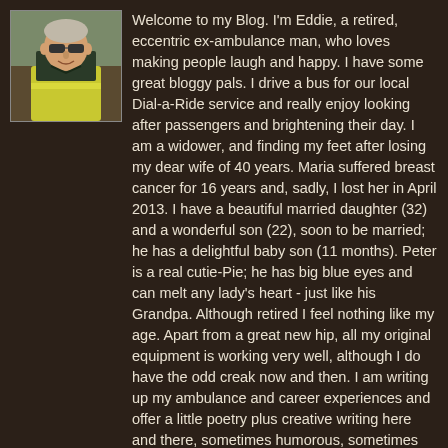[Figure (photo): Profile photo of Eddie, a man wearing a yellow/green high-visibility vest and sunglasses, outdoors]
Welcome to my Blog. I'm Eddie, a retired, eccentric ex-ambulance man, who loves making people laugh and happy. I have some great bloggy pals. I drive a bus for our local Dial-a-Ride service and really enjoy looking after passengers and brightening their day. I am a widower, and finding my feet after losing my dear wife of 40 years. Maria suffered breast cancer for 16 years and, sadly, I lost her in April 2013. I have a beautiful married daughter (32) and a wonderful son (22), soon to be married; he has a delightful baby son (11 months). Peter is a real cutie-Pie; he has big blue eyes and can melt any lady's heart - just like his Grandpa. Although retired I feel nothing like my age. Apart from a great new hip, all my original equipment is working very well, although I do have the odd creak now and then. I am writing up my ambulance and career experiences and offer a little poetry plus creative writing here and there, sometimes humorous, sometimes sad. I have donated 102 units of blood and encourage new donors in this life saving venture. I have a very keen sense of humour . . . and ladies, I'm quite a catch and will be snapped up quickly, so no delays, email me, pronto!
View my complete profile
Powered by Blogger